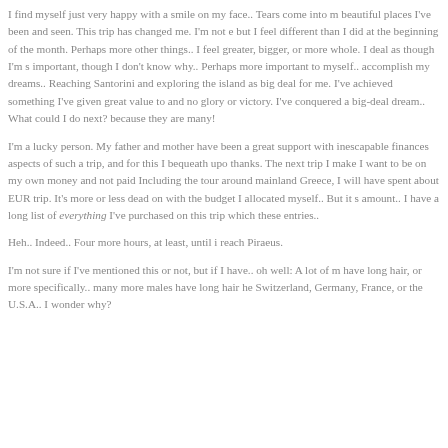I find myself just very happy with a smile on my face.. Tears come into m beautiful places I've been and seen. This trip has changed me. I'm not e but I feel different than I did at the beginning of the month. Perhaps more other things.. I feel greater, bigger, or more whole. I deal as though I'm s important, though I don't know why.. Perhaps more important to myself.. accomplish my dreams.. Reaching Santorini and exploring the island as big deal for me. I've achieved something I've given great value to and no glory or victory. I've conquered a big-deal dream.. What could I do next? because they are many!
I'm a lucky person. My father and mother have been a great support with inescapable finances aspects of such a trip, and for this I bequeath upo thanks. The next trip I make I want to be on my own money and not paid Including the tour around mainland Greece, I will have spent about EUR trip. It's more or less dead on with the budget I allocated myself.. But it s amount.. I have a long list of everything I've purchased on this trip which these entries..
Heh.. Indeed.. Four more hours, at least, until i reach Piraeus.
I'm not sure if I've mentioned this or not, but if I have.. oh well: A lot of m have long hair, or more specifically.. many more males have long hair he Switzerland, Germany, France, or the U.S.A.. I wonder why?